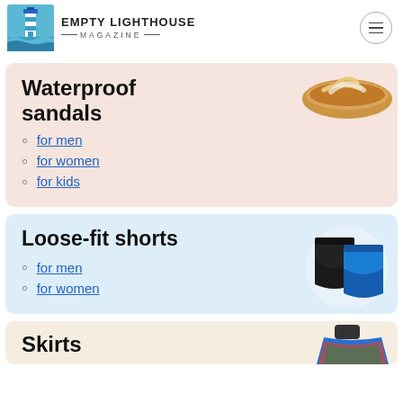Empty Lighthouse Magazine
Waterproof sandals
for men
for women
for kids
[Figure (photo): Waterproof sandals / flip flops product image]
Loose-fit shorts
for men
for women
[Figure (photo): Loose-fit shorts product image showing black and blue shorts]
Skirts
[Figure (photo): Skirts product image partially visible]